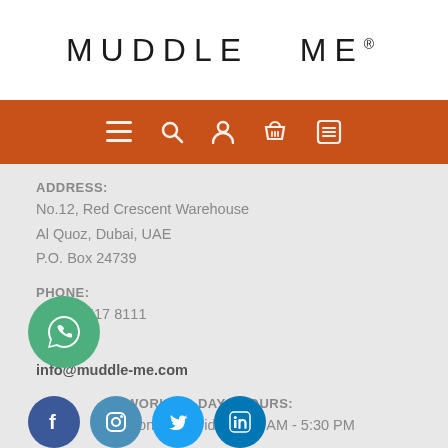[Figure (logo): MUDDLE ME wordmark logo in uppercase letters with wide letter-spacing on white background]
[Figure (screenshot): Orange navigation bar with hamburger menu, search, user, basket, and list icons in white]
ADDRESS:
No.12, Red Crescent Warehouse
Al Quoz, Dubai, UAE
P.O. Box 24739
PHONE:
(971) 4 517 8111
EMAIL:
info@muddle-me.com
WORKING DAYS/HOURS:
Monday - Friday 8:30 AM - 5:30 PM
[Figure (illustration): Green WhatsApp chat bubble icon circle on the left side]
[Figure (illustration): Social media icons: Facebook, Instagram, Twitter, LinkedIn circles at bottom]